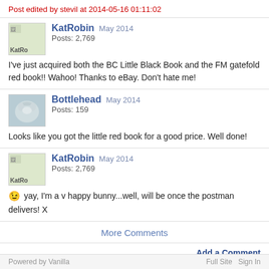Post edited by stevil at 2014-05-16 01:11:02
KatRobin  May 2014
Posts: 2,769
I've just acquired both the BC Little Black Book and the FM gatefold red book!! Wahoo! Thanks to eBay. Don't hate me!
Bottlehead  May 2014
Posts: 159
Looks like you got the little red book for a good price. Well done!
KatRobin  May 2014
Posts: 2,769
yay, I'm a v happy bunny...well, will be once the postman delivers! X
More Comments
Add a Comment
Powered by Vanilla    Full Site  Sign In